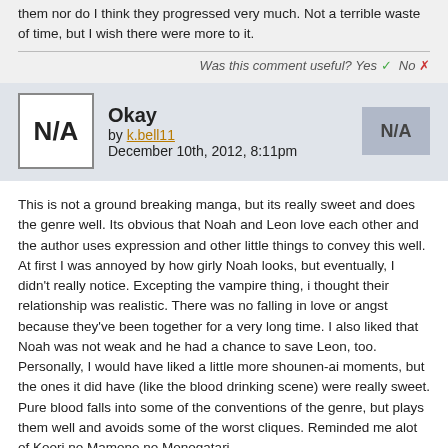them nor do I think they progressed very much. Not a terrible waste of time, but I wish there were more to it.
Was this comment useful? Yes ✓ No ✗
Okay by k.bell11 December 10th, 2012, 8:11pm
This is not a ground breaking manga, but its really sweet and does the genre well. Its obvious that Noah and Leon love each other and the author uses expression and other little things to convey this well. At first I was annoyed by how girly Noah looks, but eventually, I didn't really notice. Excepting the vampire thing, i thought their relationship was realistic. There was no falling in love or angst because they've been together for a very long time. I also liked that Noah was not weak and he had a chance to save Leon, too. Personally, I would have liked a little more shounen-ai moments, but the ones it did have (like the blood drinking scene) were really sweet. Pure blood falls into some of the conventions of the genre, but plays them well and avoids some of the worst cliques. Reminded me alot of Koori no Mamono no Monogatari.
Overall, its a fast read, and a cute story, if you like cute shounen-ai read it.
Was this comment useful? Yes ✓ No ✗